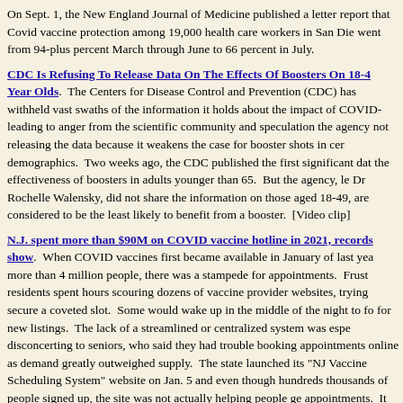On Sept. 1, the New England Journal of Medicine published a letter reporting that Covid vaccine protection among 19,000 health care workers in San Diego went from 94-plus percent March through June to 66 percent in July.
CDC Is Refusing To Release Data On The Effects Of Boosters On 18-49 Year Olds. The Centers for Disease Control and Prevention (CDC) has withheld vast swaths of the information it holds about the impact of COVID- leading to anger from the scientific community and speculation the agency not releasing the data because it weakens the case for booster shots in certain demographics. Two weeks ago, the CDC published the first significant data on the effectiveness of boosters in adults younger than 65. But the agency, led by Dr Rochelle Walensky, did not share the information on those aged 18-49, who are considered to be the least likely to benefit from a booster. [Video clip]
N.J. spent more than $90M on COVID vaccine hotline in 2021, records show. When COVID vaccines first became available in January of last year to more than 4 million people, there was a stampede for appointments. Frustrated residents spent hours scouring dozens of vaccine provider websites, trying to secure a coveted slot. Some would wake up in the middle of the night to look for new listings. The lack of a streamlined or centralized system was especially disconcerting to seniors, who said they had trouble booking appointments online as demand greatly outweighed supply. The state launched its "NJ Vaccine Scheduling System" website on Jan. 5 and even though hundreds of thousands of people signed up, the site was not actually helping people get appointments. It only notified residents when they were eligible and provided a list of vaccine sites.
French Tennis Star Gael Monfils Blames Booster Shot For His Health Problem Resulting in Withdrawal from Tournament. On Tuesday, French Number One tennis star player announced his withdrawal from next week's